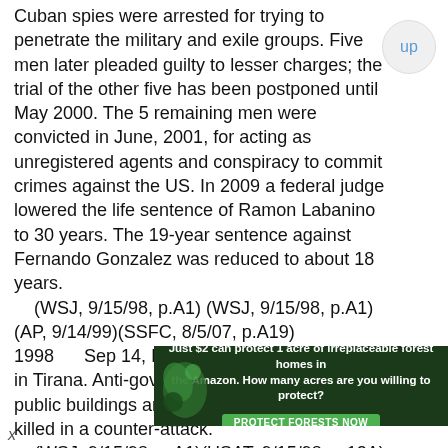Cuban spies were arrested for trying to penetrate the military and exile groups. Five men later pleaded guilty to lesser charges; the trial of the other five has been postponed until May 2000. The 5 remaining men were convicted in June, 2001, for acting as unregistered agents and conspiracy to commit crimes against the US. In 2009 a federal judge lowered the life sentence of Ramon Labanino to 30 years. The 19-year sentence against Fernando Gonzalez was reduced to about 18 years.
    (WSJ, 9/15/98, p.A1) (WSJ, 9/15/98, p.A1)(AP, 9/14/99)(SSFC, 8/5/07, p.A19)
1998     Sep 14, In Albania fighting continued in Tirana. Anti-government protestors stormed public buildings and 3 Berisha supporters were killed in a counter-attack.
    (WSJ, 9/15/98, p.A1)(USAT, 9/15/98, p.12A)(SFC, 9/15/98, p.A6)
1998     Sep 14, Air Canada pilots ended a 13-day strike with a 9% salary increase over
[Figure (photo): Advertisement banner: dark green background with forest/leaf imagery on left, white bold text reading 'Just $2 can protect 1 acre of irreplaceable forest homes in the Amazon. How many acres are you willing to protect?' and a green 'PROTECT FORESTS NOW' button.]